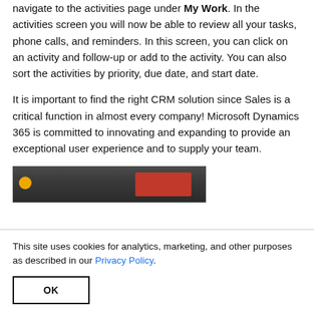navigate to the activities page under My Work. In the activities screen you will now be able to review all your tasks, phone calls, and reminders. In this screen, you can click on an activity and follow-up or add to the activity. You can also sort the activities by priority, due date, and start date.
It is important to find the right CRM solution since Sales is a critical function in almost every company! Microsoft Dynamics 365 is committed to innovating and expanding to provide an exceptional user experience and to supply your team.
[Figure (screenshot): Partial screenshot showing top portion of a software interface with dark toolbar and red element]
This site uses cookies for analytics, marketing, and other purposes as described in our Privacy Policy.
OK